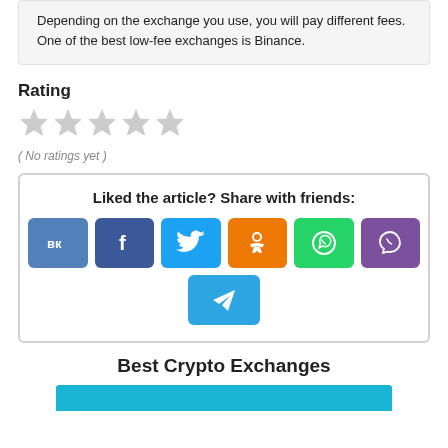Depending on the exchange you use, you will pay different fees. One of the best low-fee exchanges is Binance.
Rating
[Figure (other): Five empty/grey star rating icons]
( No ratings yet )
Liked the article? Share with friends:
[Figure (infographic): Social share buttons: VK, Facebook, Twitter, Odnoklassniki, WhatsApp, Viber, Telegram]
Best Crypto Exchanges
[Figure (other): Top of a blue banner/bar for Best Crypto Exchanges section]